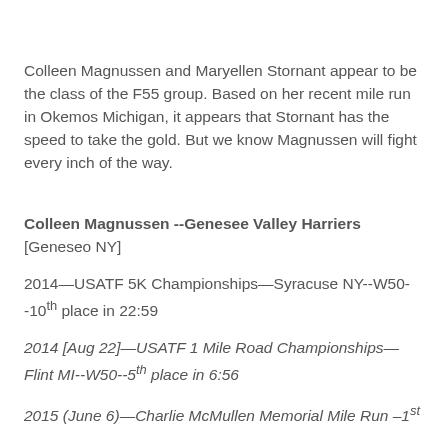Colleen Magnussen and Maryellen Stornant appear to be the class of the F55 group. Based on her recent mile run in Okemos Michigan, it appears that Stornant has the speed to take the gold. But we know Magnussen will fight every inch of the way.
Colleen Magnussen --Genesee Valley Harriers [Geneseo NY]
2014—USATF 5K Championships—Syracuse NY--W50--10th place in 22:59
2014 [Aug 22]—USATF 1 Mile Road Championships—Flint MI--W50--5th place in 6:56
2015 (June 6)—Charlie McMullen Memorial Mile Run –1st F55…